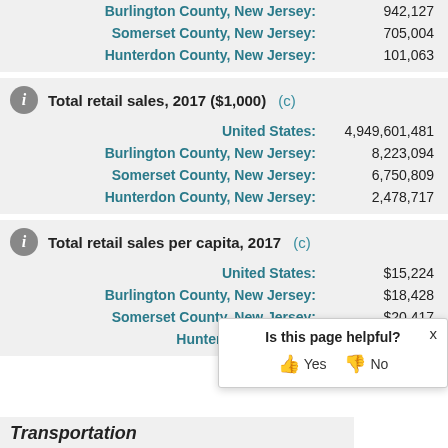| Location | Value |
| --- | --- |
| Burlington County, New Jersey: | 942,127 |
| Somerset County, New Jersey: | 705,004 |
| Hunterdon County, New Jersey: | 101,063 |
Total retail sales, 2017 ($1,000) (c)
| Location | Value |
| --- | --- |
| United States: | 4,949,601,481 |
| Burlington County, New Jersey: | 8,223,094 |
| Somerset County, New Jersey: | 6,750,809 |
| Hunterdon County, New Jersey: | 2,478,717 |
Total retail sales per capita, 2017 (c)
| Location | Value |
| --- | --- |
| United States: | $15,224 |
| Burlington County, New Jersey: | $18,428 |
| Somerset County, New Jersey: | $20,417 |
| Hunterdon County, New Jersey: | (partially visible) |
Is this page helpful? Yes No
Transportation